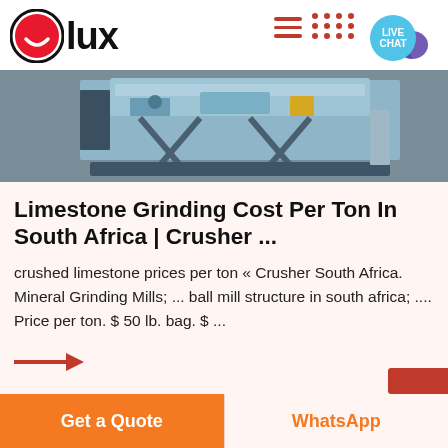[Figure (logo): Olux logo with red circle containing white smile icon and bold text 'lux']
[Figure (photo): Industrial grinding machine on a blue metal frame structure in a workshop setting]
Limestone Grinding Cost Per Ton In South Africa | Crusher ...
crushed limestone prices per ton « Crusher South Africa. Mineral Grinding Mills; ... ball mill structure in south africa; .... Price per ton. $ 50 lb. bag. $ ...
[Figure (illustration): Red arrow pointing right]
Get a Quote   WhatsApp